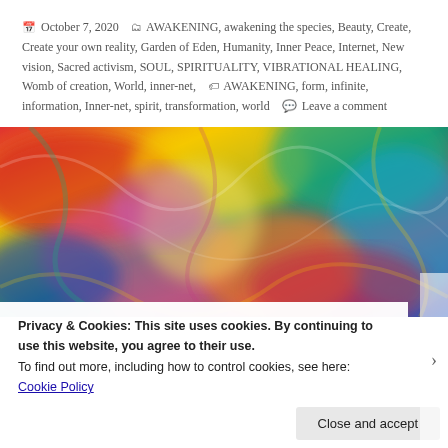October 7, 2020   AWAKENING, awakening the species, Beauty, Create, Create your own reality, Garden of Eden, Humanity, Inner Peace, Internet, New vision, Sacred activism, SOUL, SPIRITUALITY, VIBRATIONAL HEALING, Womb of creation, World, inner-net,   AWAKENING, form, infinite, information, Inner-net, spirit, transformation, world   Leave a comment
[Figure (photo): Colorful abstract swirling painting with vibrant reds, yellows, blues, greens and pinks in swirling patterns]
Privacy & Cookies: This site uses cookies. By continuing to use this website, you agree to their use.
To find out more, including how to control cookies, see here: Cookie Policy
Close and accept